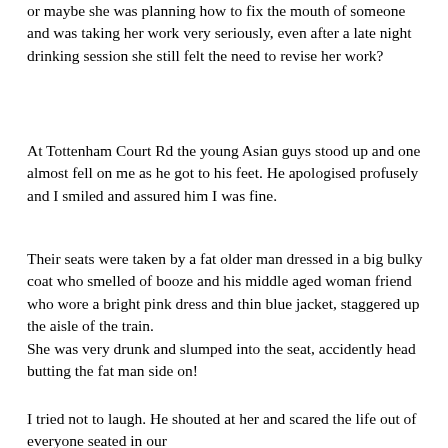or maybe she was planning how to fix the mouth of someone and was taking her work very seriously, even after a late night drinking session she still felt the need to revise her work?
At Tottenham Court Rd the young Asian guys stood up and one almost fell on me as he got to his feet. He apologised profusely and I smiled and assured him I was fine.
Their seats were taken by a fat older man dressed in a big bulky coat who smelled of booze and his middle aged woman friend who wore a bright pink dress and thin blue jacket, staggered up the aisle of the train.
She was very drunk and slumped into the seat, accidently head butting the fat man side on!
I tried not to laugh. He shouted at her and scared the life out of everyone seated in our